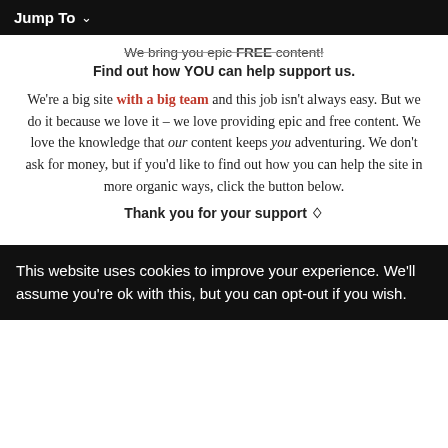Jump To ∨
We bring you epic FREE content!
Find out how YOU can help support us.
We're a big site with a big team and this job isn't always easy. But we do it because we love it – we love providing epic and free content. We love the knowledge that our content keeps you adventuring. We don't ask for money, but if you'd like to find out how you can help the site in more organic ways, click the button below.
Thank you for your support 🙂
This website uses cookies to improve your experience. We'll assume you're ok with this, but you can opt-out if you wish.